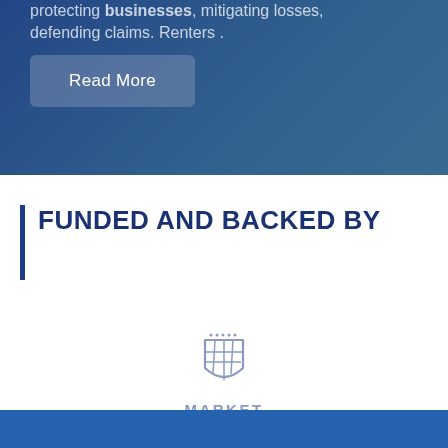protecting businesses, mitigating losses, defending claims. Renters .
Read More
FUNDED AND BACKED BY
[Figure (logo): Market Trade logo: a shield emblem above the text MARKET TRADE in spaced uppercase letters]